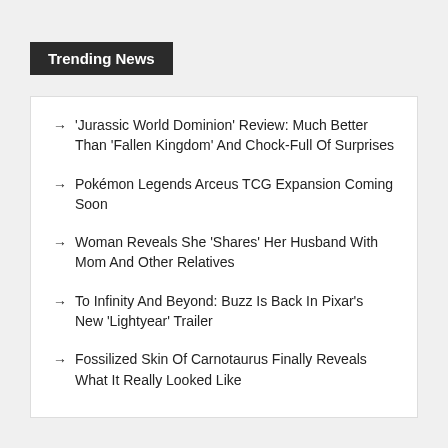Trending News
→ 'Jurassic World Dominion' Review: Much Better Than 'Fallen Kingdom' And Chock-Full Of Surprises
→ Pokémon Legends Arceus TCG Expansion Coming Soon
→ Woman Reveals She 'Shares' Her Husband With Mom And Other Relatives
→ To Infinity And Beyond: Buzz Is Back In Pixar's New 'Lightyear' Trailer
→ Fossilized Skin Of Carnotaurus Finally Reveals What It Really Looked Like